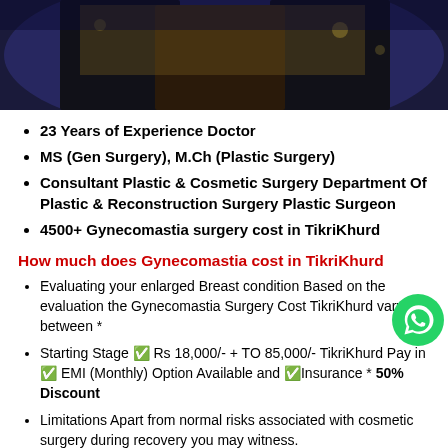[Figure (photo): Photo of two people in formal attire on a stage with blue and gold background lighting]
23 Years of Experience Doctor
MS (Gen Surgery), M.Ch (Plastic Surgery)
Consultant Plastic & Cosmetic Surgery Department Of Plastic & Reconstruction Surgery Plastic Surgeon
4500+ Gynecomastia surgery cost in TikriKhurd
How much does Gynecomastia cost in TikriKhurd
Evaluating your enlarged Breast condition Based on the evaluation the Gynecomastia Surgery Cost TikriKhurd vary between *
Starting Stage ✅ Rs 18,000/- + TO 85,000/- TikriKhurd Pay in ✅ EMI (Monthly) Option Available and ✅Insurance * 50% Discount
Limitations Apart from normal risks associated with cosmetic surgery during recovery you may witness.